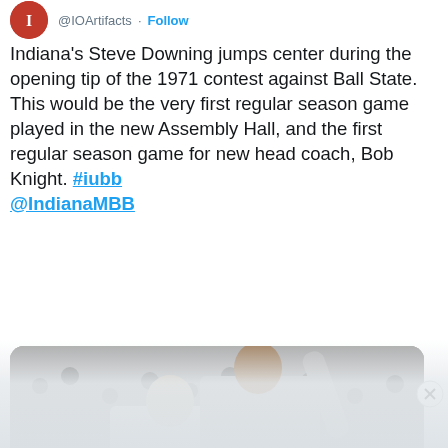@IOArtifacts · Follow
Indiana's Steve Downing jumps center during the opening tip of the 1971 contest against Ball State. This would be the very first regular season game played in the new Assembly Hall, and the first regular season game for new head coach, Bob Knight. #iubb @IndianaMBB
[Figure (photo): Black and white basketball photo showing two players jumping for the ball. Player in Indiana jersey #32 battles player in #54. Crowd visible in background.]